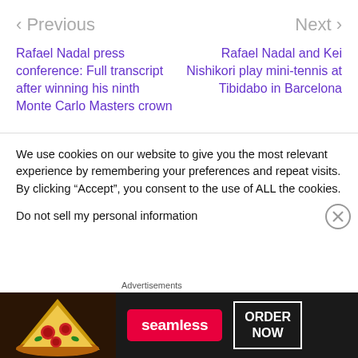< Previous   Next >
Rafael Nadal press conference: Full transcript after winning his ninth Monte Carlo Masters crown
Rafael Nadal and Kei Nishikori play mini-tennis at Tibidabo in Barcelona
We use cookies on our website to give you the most relevant experience by remembering your preferences and repeat visits. By clicking “Accept”, you consent to the use of ALL the cookies.
Do not sell my personal information
Advertisements
[Figure (other): Seamless food delivery advertisement banner with pizza image, Seamless logo in red, and ORDER NOW button]